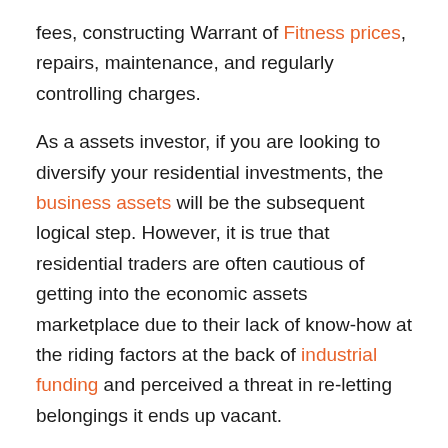fees, constructing Warrant of Fitness prices, repairs, maintenance, and regularly controlling charges.
As a assets investor, if you are looking to diversify your residential investments, the business assets will be the subsequent logical step. However, it is true that residential traders are often cautious of getting into the economic assets marketplace due to their lack of know-how at the riding factors at the back of industrial funding and perceived a threat in re-letting belongings it ends up vacant.
Vacant business residences have sincerely suffered greater than residential within the beyond to find a tenant, and extended vacancies can arise. Furthermore, getting a new tenant signed up maybe steeply-priced. Agents fees of thirteen% to 15% of the first years here, and inducements together with a hire holiday and/or assist with fit-out prices are frequently predicted.
Therefore, you must have a lower level of borrowing than you will